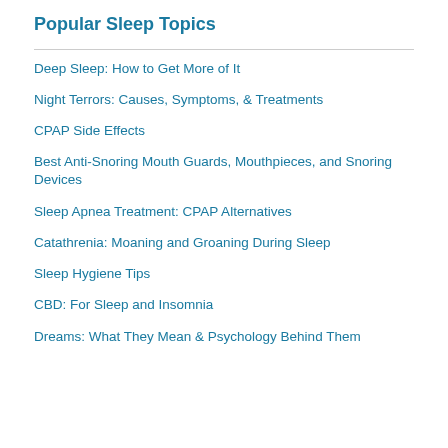Popular Sleep Topics
Deep Sleep: How to Get More of It
Night Terrors: Causes, Symptoms, & Treatments
CPAP Side Effects
Best Anti-Snoring Mouth Guards, Mouthpieces, and Snoring Devices
Sleep Apnea Treatment: CPAP Alternatives
Catathrenia: Moaning and Groaning During Sleep
Sleep Hygiene Tips
CBD: For Sleep and Insomnia
Dreams: What They Mean & Psychology Behind Them